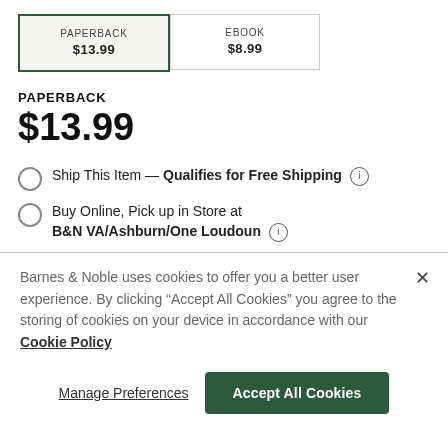| PAPERBACK
$13.99 | EBOOK
$8.99 |
PAPERBACK
$13.99
Ship This Item — Qualifies for Free Shipping ℹ
Buy Online, Pick up in Store at B&N VA/Ashburn/One Loudoun ℹ
Barnes & Noble uses cookies to offer you a better user experience. By clicking "Accept All Cookies" you agree to the storing of cookies on your device in accordance with our Cookie Policy
Manage Preferences
Accept All Cookies